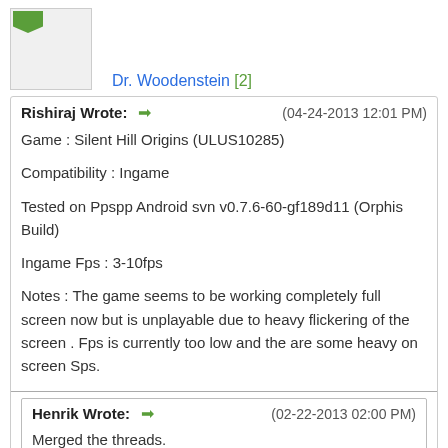Dr. Woodenstein [2]
Rishiraj Wrote: → (04-24-2013 12:01 PM)
Game : Silent Hill Origins (ULUS10285)
Compatibility : Ingame
Tested on Ppspp Android svn v0.7.6-60-gf189d11 (Orphis Build)
Ingame Fps : 3-10fps
Notes : The game seems to be working completely full screen now but is unplayable due to heavy flickering of the screen . Fps is currently too low and the are some heavy on screen Sps.
Henrik Wrote: → (02-22-2013 02:00 PM)
Merged the threads.
This thread should be moved to the Ingame thread as the game